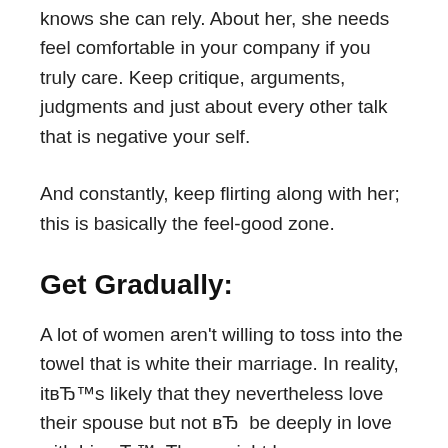knows she can rely. About her, she needs feel comfortable in your company if you truly care. Keep critique, arguments, judgments and just about every other talk that is negative your self.
And constantly, keep flirting along with her; this is basically the feel-good zone.
Get Gradually:
A lot of women aren't willing to toss into the towel that is white their marriage. In reality, itвЂ™s likely that they nevertheless love their spouse but not вЂ  be deeply in love with himвЂ™. There might be